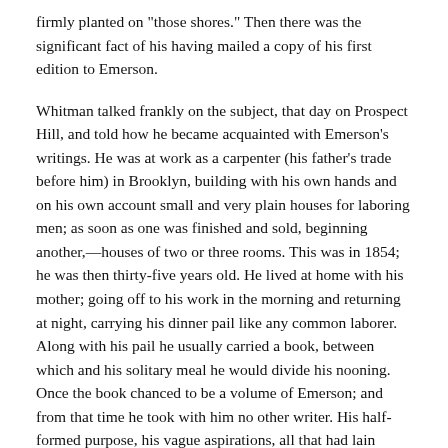firmly planted on "those shores." Then there was the significant fact of his having mailed a copy of his first edition to Emerson.
Whitman talked frankly on the subject, that day on Prospect Hill, and told how he became acquainted with Emerson's writings. He was at work as a carpenter (his father's trade before him) in Brooklyn, building with his own hands and on his own account small and very plain houses for laboring men; as soon as one was finished and sold, beginning another,—houses of two or three rooms. This was in 1854; he was then thirty-five years old. He lived at home with his mother; going off to his work in the morning and returning at night, carrying his dinner pail like any common laborer. Along with his pail he usually carried a book, between which and his solitary meal he would divide his nooning. Once the book chanced to be a volume of Emerson; and from that time he took with him no other writer. His half-formed purpose, his vague aspirations, all that had lain smouldering so long within him, waiting to be fired, rushed into flame at the touch of those electric words, —the words that burn in the prose-poem Nature, and in the essays on Spiritual Laws, the Over-